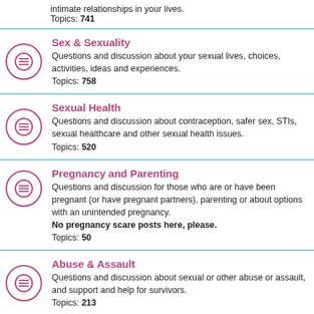intimate relationships in your lives. Topics: 741
Sex & Sexuality — Questions and discussion about your sexual lives, choices, activities, ideas and experiences. Topics: 758
Sexual Health — Questions and discussion about contraception, safer sex, STIs, sexual healthcare and other sexual health issues. Topics: 520
Pregnancy and Parenting — Questions and discussion for those who are or have been pregnant (or have pregnant partners), parenting or about options with an unintended pregnancy. No pregnancy scare posts here, please. Topics: 50
Abuse & Assault — Questions and discussion about sexual or other abuse or assault, and support and help for survivors. Topics: 213
Sex, Culture and Politics — Questions and discussion about sex and sexuality in political or community beliefs, principles, actions, policies,